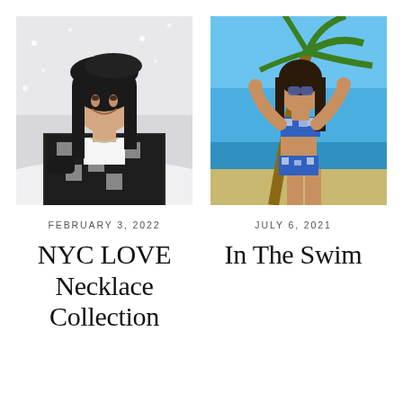[Figure (photo): Woman in winter clothing, black beret hat, houndstooth coat and black gloves, smiling and looking up in snowy scene]
[Figure (photo): Woman in blue and white floral bikini on a tropical beach with palm tree, ocean in background]
FEBRUARY 3, 2022
JULY 6, 2021
NYC LOVE Necklace Collection
In The Swim